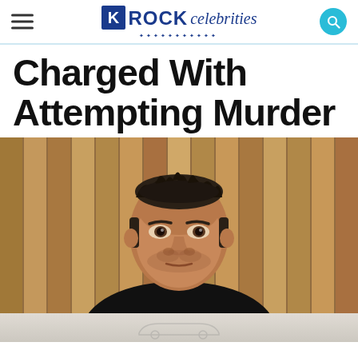ROCK celebrities
Charged With Attempting Murder
[Figure (photo): Middle-aged man with short dark spiky hair, wearing a black t-shirt with a silver chain necklace, photographed in front of wooden vertical slat paneling background, looking slightly to the side with a serious expression.]